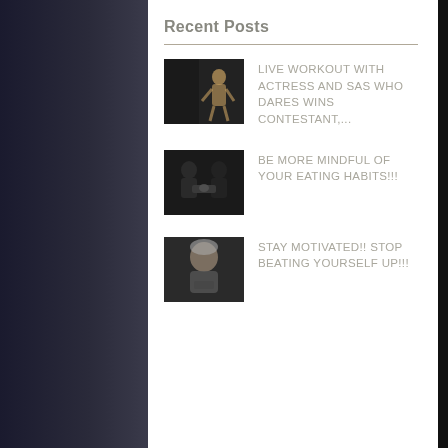Recent Posts
[Figure (photo): Thumbnail image of actress workout post]
LIVE WORKOUT WITH ACTRESS AND SAS WHO DARES WINS CONTESTANT,...
[Figure (photo): Thumbnail image of mindful eating post]
BE MORE MINDFUL OF YOUR EATING HABITS!!!
[Figure (photo): Thumbnail image of stay motivated post]
STAY MOTIVATED!! STOP BEATING YOURSELF UP!!!